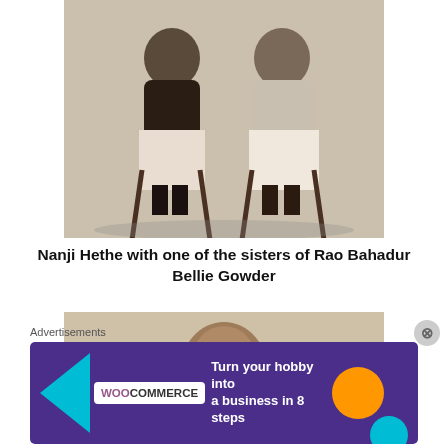[Figure (photo): Black and white photograph of two elderly women seated in chairs, wrapped in shawls, outdoors against a wall background.]
Nanji Hethe with one of the sisters of Rao Bahadur Bellie Gowder
[Figure (photo): Partial view of a second photograph showing a face/head, partially obscured by an advertisement overlay.]
Advertisements
[Figure (other): WooCommerce advertisement banner with purple background: 'Turn your hobby into a business in 8 steps']